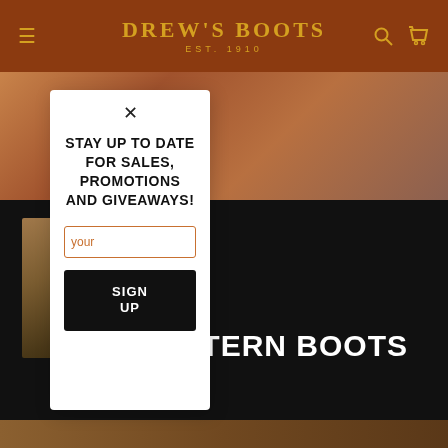DREW'S BOOTS EST. 1910
[Figure (screenshot): Website screenshot showing Drew's Boots e-commerce homepage with brown header, background lifestyle photos, and western boots promotional section]
Stay up to date for sales, promotions and giveaways!
your
SIGN UP
WESTERN BOOTS